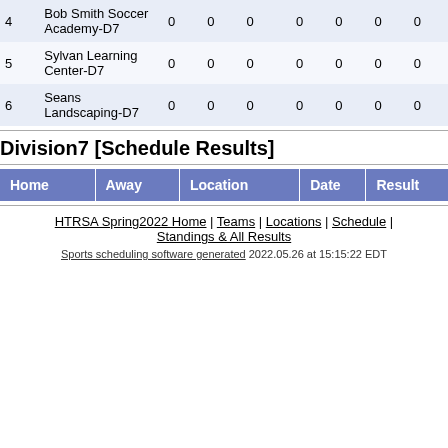| # | Team |  |  |  |  |  |  |  |
| --- | --- | --- | --- | --- | --- | --- | --- | --- |
| 4 | Bob Smith Soccer Academy-D7 | 0 | 0 | 0 | 0 | 0 | 0 | 0 |
| 5 | Sylvan Learning Center-D7 | 0 | 0 | 0 | 0 | 0 | 0 | 0 |
| 6 | Seans Landscaping-D7 | 0 | 0 | 0 | 0 | 0 | 0 | 0 |
Division7 [Schedule Results]
| Home | Away | Location | Date | Result |
| --- | --- | --- | --- | --- |
HTRSA Spring2022 Home | Teams | Locations | Schedule | Standings & All Results
Sports scheduling software generated 2022.05.26 at 15:15:22 EDT